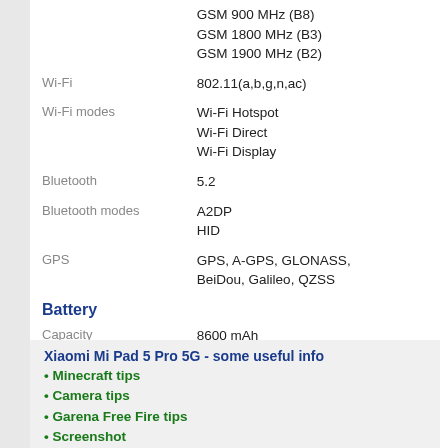| Property | Value |
| --- | --- |
|  | GSM 900 MHz (B8)
GSM 1800 MHz (B3)
GSM 1900 MHz (B2) |
| Wi-Fi | 802.11(a,b,g,n,ac) |
| Wi-Fi modes | Wi-Fi Hotspot
Wi-Fi Direct
Wi-Fi Display |
| Bluetooth | 5.2 |
| Bluetooth modes | A2DP
HID |
| GPS | GPS, A-GPS, GLONASS, BeiDou, Galileo, QZSS |
Battery
| Property | Value |
| --- | --- |
| Capacity | 8600 mAh |
| Type | Li-Polymer |
Other
| Property | Value |
| --- | --- |
| IrDa | Yes |
Xiaomi Mi Pad 5 Pro 5G - some useful info
Minecraft tips
Camera tips
Garena Free Fire tips
Screenshot
Lock Screen change
Fortnite tips
PUBG tips
Teardown
Insert Sim and SD